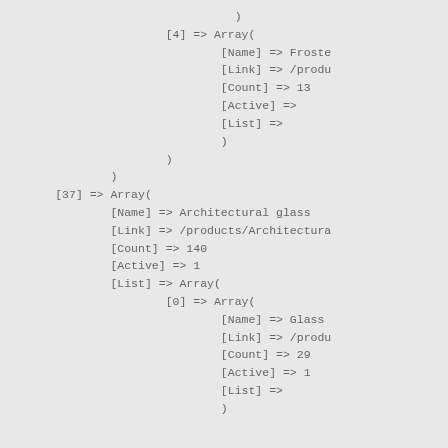)
[4] => Array(
        [Name] => Froste
        [Link] => /produ
        [Count] => 13
        [Active] =>
        [List] =>
        )
    )
)
[37] => Array(
        [Name] => Architectural glass
        [Link] => /products/Architectura
        [Count] => 140
        [Active] => 1
        [List] => Array(
                [0] => Array(
                        [Name] => Glass
                        [Link] => /produ
                        [Count] => 29
                        [Active] => 1
                        [List] =>
                        )